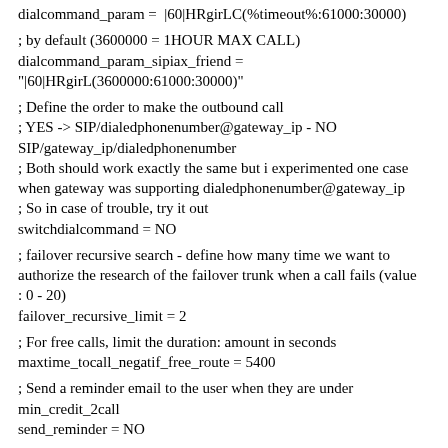dialcommand_param = "|60|HRgirLC(%timeout%:61000:30000)
; by default (3600000 = 1HOUR MAX CALL)
dialcommand_param_sipiax_friend =
"|60|HRgirL(3600000:61000:30000)"
; Define the order to make the outbound call
; YES -> SIP/dialedphonenumber@gateway_ip - NO SIP/gateway_ip/dialedphonenumber
; Both should work exactly the same but i experimented one case when gateway was supporting dialedphonenumber@gateway_ip
; So in case of trouble, try it out
switchdialcommand = NO
; failover recursive search - define how many time we want to authorize the research of the failover trunk when a call fails (value : 0 - 20)
failover_recursive_limit = 2
; For free calls, limit the duration: amount in seconds
maxtime_tocall_negatif_free_route = 5400
; Send a reminder email to the user when they are under min_credit_2call
send_reminder = NO